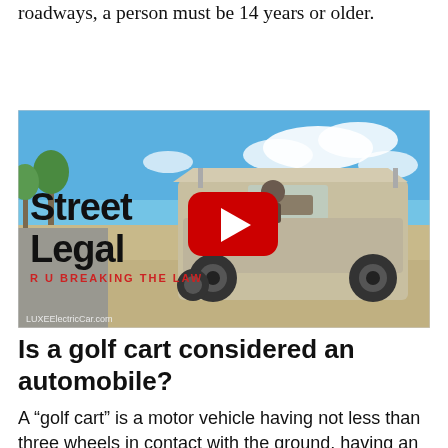roadways, a person must be 14 years or older.
[Figure (screenshot): YouTube video thumbnail showing a golf cart on a beach with text 'Street Legal R U BREAKING THE LAW' overlaid. A YouTube play button is visible in the center. LUXEElectricCar.com watermark in bottom left.]
Is a golf cart considered an automobile?
A “golf cart” is a motor vehicle having not less than three wheels in contact with the ground, having an unladen weight less than